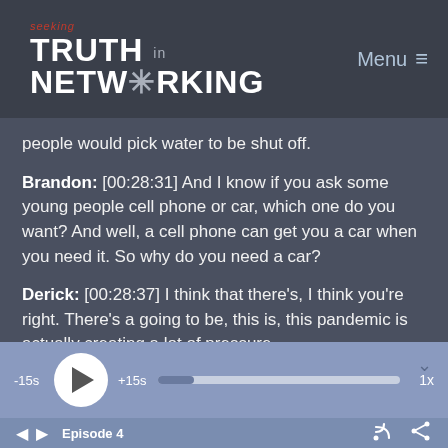seeking TRUTH in NETWORKING — Menu
people would pick water to be shut off.
Brandon: [00:28:31] And I know if you ask some young people cell phone or car, which one do you want? And well, a cell phone can get you a car when you need it. So why do you need a car?
Derick: [00:28:37] I think that there's, I think you're right. There's a going to be, this is, this pandemic is actually creating a lot of pressure,
[Figure (other): Podcast audio player bar with -15s skip back, play button, +15s skip forward, progress bar, and 1x speed control]
◄ ► Episode 4